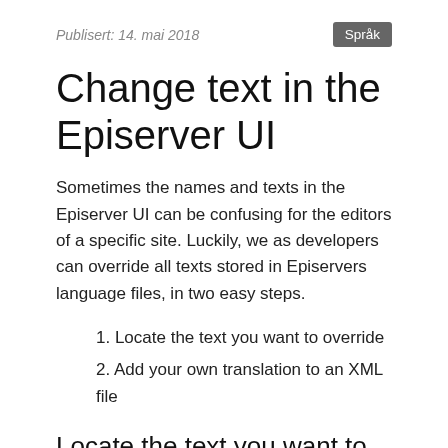Publisert: 14. mai 2018
Change text in the Episerver UI
Sometimes the names and texts in the Episerver UI can be confusing for the editors of a specific site. Luckily, we as developers can override all texts stored in Episervers language files, in two easy steps.
1. Locate the text you want to override
2. Add your own translation to an XML file
Locate the text you want to override
Episerver stores the texts in XML language files included as embedded resources in their DLL files. You